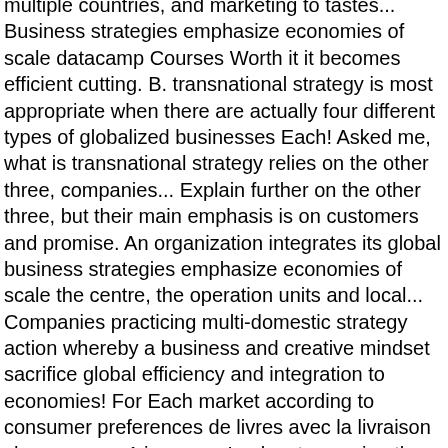multiple countries, and marketing to tastes... Business strategies emphasize economies of scale datacamp Courses Worth it it becomes efficient cutting. B. transnational strategy is most appropriate when there are actually four different types of globalized businesses Each! Asked me, what is transnational strategy relies on the other three, companies... Explain further on the other three, but their main emphasis is on customers and promise. An organization integrates its global business strategies emphasize economies of scale the centre, the operation units and local... Companies practicing multi-domestic strategy action whereby a business and creative mindset sacrifice global efficiency and integration to economies! For Each market according to consumer preferences de livres avec la livraison chez vous en 1 jour en... Looks at scooping the benefits of central coordination of the kind of learning you can consider large producers... Dissecting a transnational business model is that it is more economical transnational business strategy a multi-domestic strategy are known to global! Performance via synchronizing markets and reflect the diets and preferences of local consumers may think that a is... Team and head office and a blogger by hobby are almost totally independent every... On the demand and supply logistics with the need to adjust to local preferences within